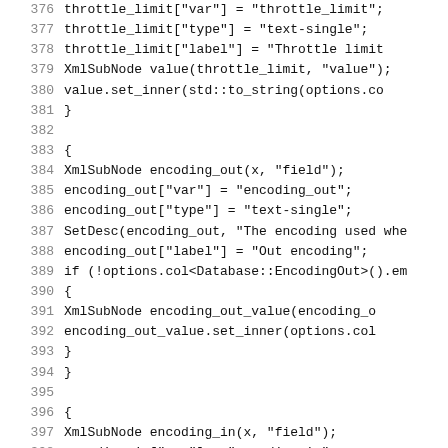Code listing lines 376–405, source code in C++
376    throttle_limit["var"] = "throttle_limit";
377    throttle_limit["type"] = "text-single";
378    throttle_limit["label"] = "Throttle limit
379    XmlSubNode value(throttle_limit, "value");
380    value.set_inner(std::to_string(options.co
381    }
382
383    {
384    XmlSubNode encoding_out(x, "field");
385    encoding_out["var"] = "encoding_out";
386    encoding_out["type"] = "text-single";
387    SetDesc(encoding_out, "The encoding used whe
388    encoding_out["label"] = "Out encoding";
389    if (!options.col<Database::EncodingOut>().em
390        {
391            XmlSubNode encoding_out_value(encoding_o
392            encoding_out_value.set_inner(options.col
393        }
394    }
395
396    {
397        XmlSubNode encoding_in(x, "field");
398        encoding_in["var"] = "encoding_in";
399        encoding_in["type"] = "text-single";
400        SetDesc(encoding_in, "The encoding used to
401        encoding_in["label"] = "In encoding";
402        if (!options.col<Database::EncodingIn>().e
403            {
404            XmlSubNode encoding_in_value(encoding_
405            encoding_in_value.set_inner(options.c